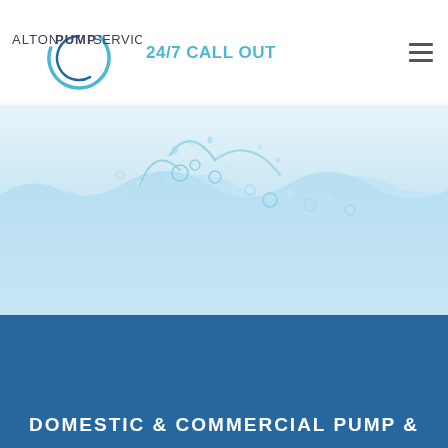ALTON PUMP SERVICES   24/7 CALL OUT
[Figure (photo): Close-up photo of water surface with bubbles and splashing water on a light blue/white background]
DOMESTIC & COMMERCIAL PUMP &